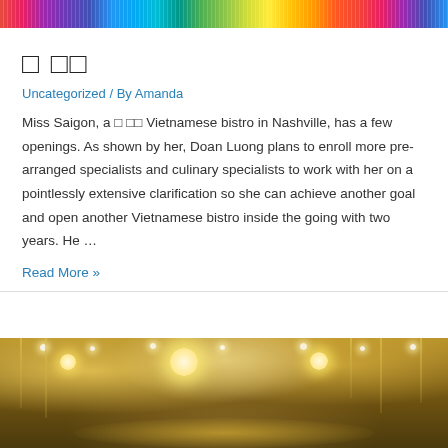[Figure (photo): Colorful abstract/bokeh image with rainbow streaks at top of page]
□ □□
Uncategorized / By Amanda
Miss Saigon, a □ □□ Vietnamese bistro in Nashville, has a few openings. As shown by her, Doan Luong plans to enroll more pre-arranged specialists and culinary specialists to work with her on a pointlessly extensive clarification so she can achieve another goal and open another Vietnamese bistro inside the going with two years. He …
Read More »
[Figure (photo): Interior of an elegant restaurant or banquet hall with chandeliers, warm golden lighting, drapes and ceiling recessed lights]